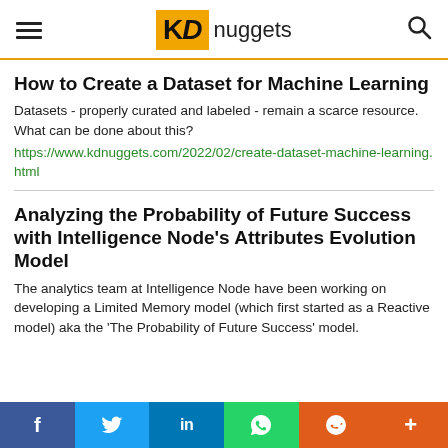KDnuggets
How to Create a Dataset for Machine Learning
Datasets - properly curated and labeled - remain a scarce resource. What can be done about this?
https://www.kdnuggets.com/2022/02/create-dataset-machine-learning.html
Analyzing the Probability of Future Success with Intelligence Node's Attributes Evolution Model
The analytics team at Intelligence Node have been working on developing a Limited Memory model (which first started as a Reactive model) aka the 'The Probability of Future Success' model.
f  twitter  in  whatsapp  reddit  +